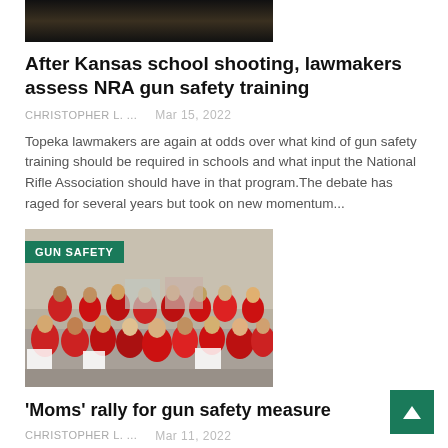[Figure (photo): Partial view of a dark-toned photo at the top of the page, cropped]
After Kansas school shooting, lawmakers assess NRA gun safety training
CHRISTOPHER L. ...   Mar 15, 2022
Topeka lawmakers are again at odds over what kind of gun safety training should be required in schools and what input the National Rifle Association should have in that program.The debate has raged for several years but took on new momentum...
[Figure (photo): Photo of a group of people in red shirts sitting on steps holding signs at a gun safety rally, with a GUN SAFETY badge overlay]
'Moms' rally for gun safety measure
CHRISTOPHER L. ...   Mar 11, 2022
Gun laws in other states save lives and could work here in Delaware -